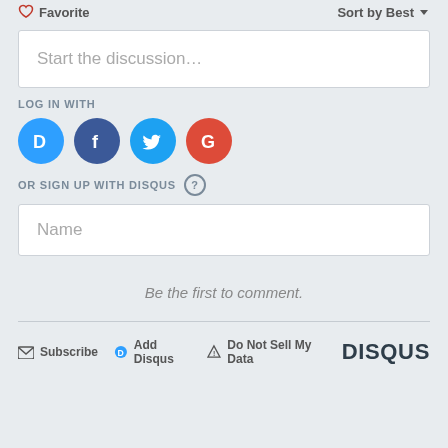Favorite   Sort by Best
Start the discussion…
LOG IN WITH
[Figure (other): Social login icons: Disqus (D), Facebook (f), Twitter bird, Google (G) as colored circles]
OR SIGN UP WITH DISQUS ?
Name
Be the first to comment.
Subscribe   Add Disqus   Do Not Sell My Data   DISQUS